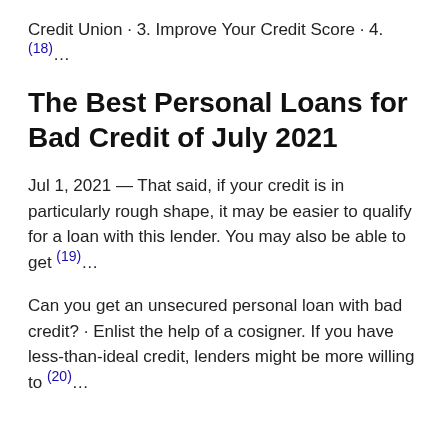Credit Union · 3. Improve Your Credit Score · 4.(18)…
The Best Personal Loans for Bad Credit of July 2021
Jul 1, 2021 — That said, if your credit is in particularly rough shape, it may be easier to qualify for a loan with this lender. You may also be able to get (19)…
Can you get an unsecured personal loan with bad credit? · Enlist the help of a cosigner. If you have less-than-ideal credit, lenders might be more willing to (20)…